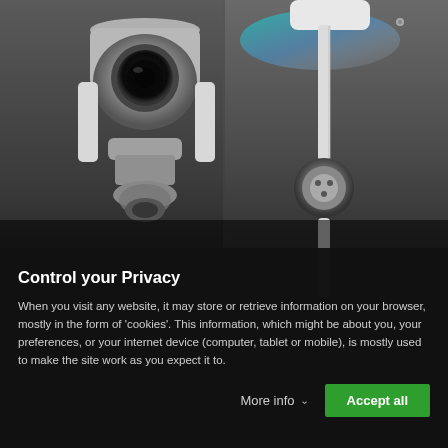[Figure (photo): Close-up photograph of a DJI drone showing the camera gimbal on the left side and a landing leg/motor on the right side, dark grey background]
Control your Privacy
When you visit any website, it may store or retrieve information on your browser, mostly in the form of 'cookies'. This information, which might be about you, your preferences, or your internet device (computer, tablet or mobile), is mostly used to make the site work as you expect it to.
More info   Accept all